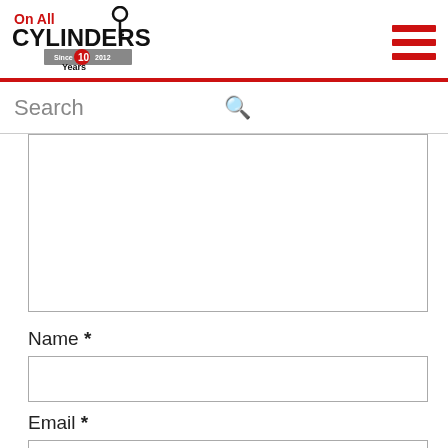On All Cylinders - 10 Years logo and hamburger menu
Search
Name *
Email *